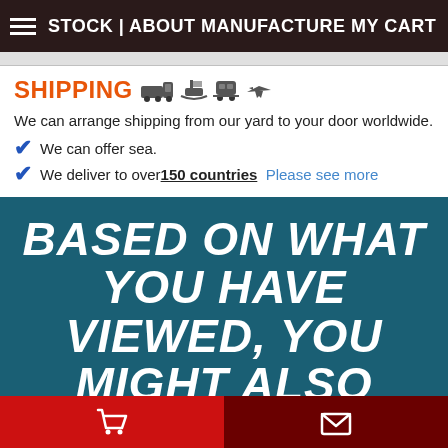STOCK | ABOUT MANUFACTURE MY CART
SHIPPING
We can arrange shipping from our yard to your door worldwide.
We can offer sea.
We deliver to over 150 countries   Please see more
BASED ON WHAT YOU HAVE VIEWED, YOU MIGHT ALSO LIKE
FAW CRANE TRUCK 4X4 12T